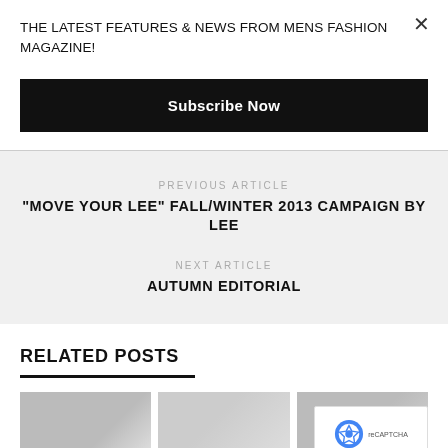THE LATEST FEATURES & NEWS FROM MENS FASHION MAGAZINE!
Subscribe Now
PREVIOUS ARTICLE
“MOVE YOUR LEE” FALL/WINTER 2013 CAMPAIGN BY LEE
NEXT ARTICLE
AUTUMN EDITORIAL
RELATED POSTS
[Figure (photo): Three related article thumbnail images showing men, partially visible]
[Figure (logo): reCAPTCHA badge with Privacy and Terms text]